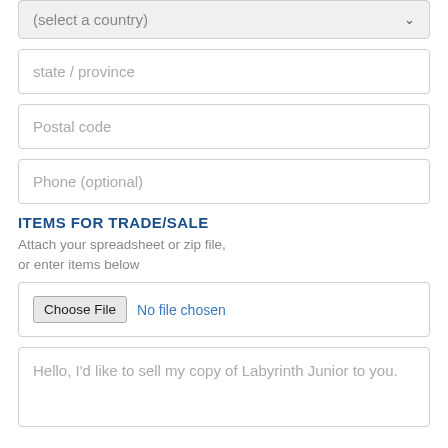(select a country)
state / province
Postal code
Phone (optional)
ITEMS FOR TRADE/SALE
Attach your spreadsheet or zip file, or enter items below
Choose File  No file chosen
Hello, I'd like to sell my copy of Labyrinth Junior to you.